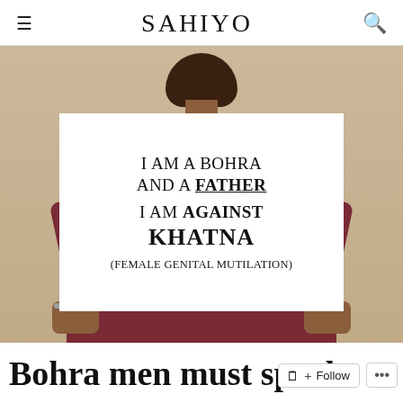SAHIYO
[Figure (photo): A man holding a white sign that reads 'I AM A BOHRA AND A FATHER I AM AGAINST KHATNA (FEMALE GENITAL MUTILATION)']
Bohra men must speak